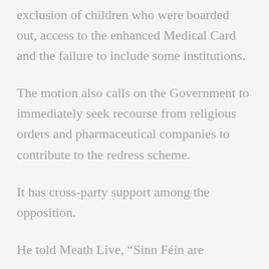exclusion of children who were boarded out, access to the enhanced Medical Card and the failure to include some institutions.
The motion also calls on the Government to immediately seek recourse from religious orders and pharmaceutical companies to contribute to the redress scheme.
It has cross-party support among the opposition.
He told Meath Live, “Sinn Féin are